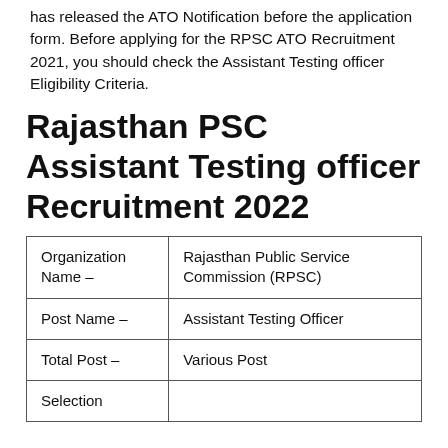has released the ATO Notification before the application form. Before applying for the RPSC ATO Recruitment 2021, you should check the Assistant Testing officer Eligibility Criteria.
Rajasthan PSC Assistant Testing officer Recruitment 2022
| Organization Name – | Rajasthan Public Service Commission (RPSC) |
| Post Name – | Assistant Testing Officer |
| Total Post – | Various Post |
| Selection |  |